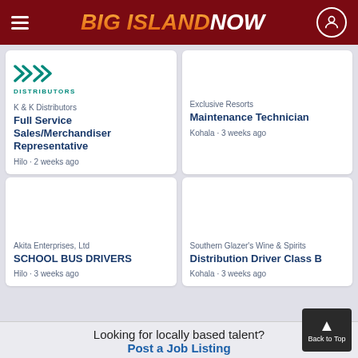Big Island Now
[Figure (logo): K & K Distributors logo with teal chevrons]
K & K Distributors
Full Service Sales/Merchandiser Representative
Hilo · 2 weeks ago
Exclusive Resorts
Maintenance Technician
Kohala · 3 weeks ago
Akita Enterprises, Ltd
SCHOOL BUS DRIVERS
Hilo · 3 weeks ago
Southern Glazer's Wine & Spirits
Distribution Driver Class B
Kohala · 3 weeks ago
Looking for locally based talent?
Post a Job Listing